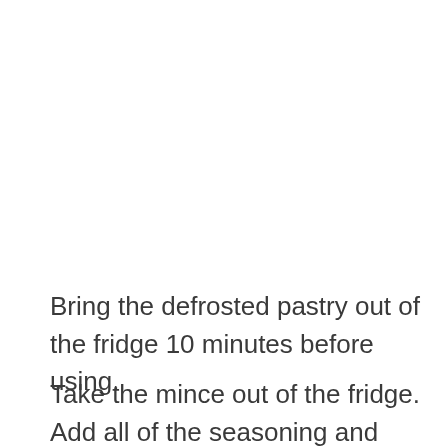Bring the defrosted pastry out of the fridge 10 minutes before using.
Take the mince out of the fridge. Add all of the seasoning and mix it with your